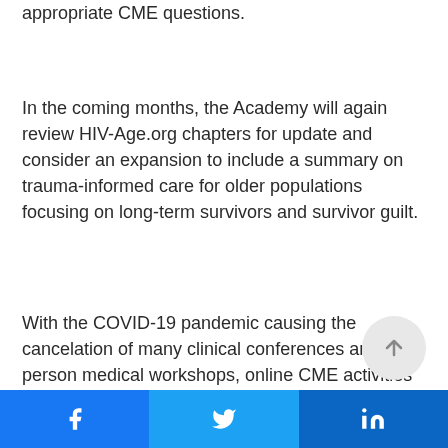appropriate CME questions.
In the coming months, the Academy will again review HIV-Age.org chapters for update and consider an expansion to include a summary on trauma-informed care for older populations focusing on long-term survivors and survivor guilt.
With the COVID-19 pandemic causing the cancelation of many clinical conferences and in-person medical workshops, online CME activities will be a growing part of continuing education for HIV care providers.  The Academy is making every effort to conveniently deliver relevant digital content to